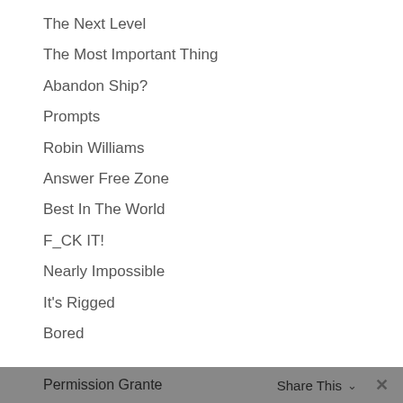The Next Level
The Most Important Thing
Abandon Ship?
Prompts
Robin Williams
Answer Free Zone
Best In The World
F_CK IT!
Nearly Impossible
It's Rigged
Bored
Permission Granted  Share This  ✕